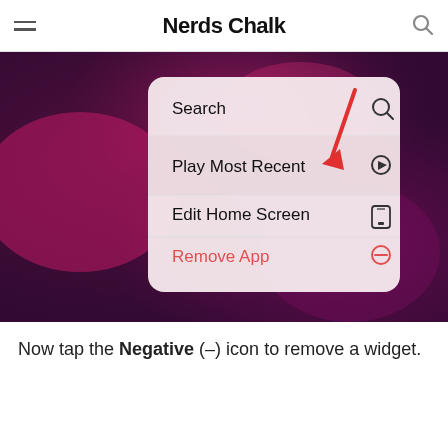Nerds Chalk
[Figure (screenshot): iOS context menu on a blurred pink/purple home screen background showing options: Search (with magnifying glass icon), Play Most Recent (with play icon, red arrow pointing to it), Edit Home Screen (with phone icon), Remove App (in red, with minus circle icon). A red arrow points to the 'Play Most Recent' row.]
Now tap the Negative (–) icon to remove a widget.